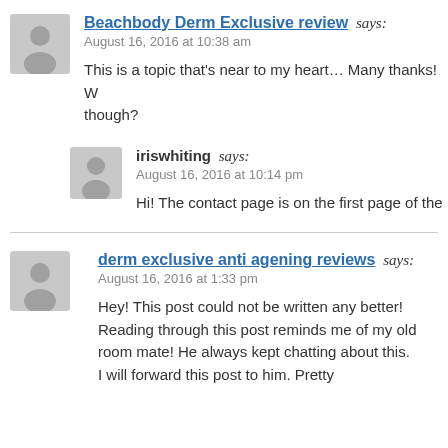Beachbody Derm Exclusive review says: August 16, 2016 at 10:38 am
This is a topic that’s near to my heart… Many thanks! Where are your contact details though?
iriswhiting says: August 16, 2016 at 10:14 pm
Hi! The contact page is on the first page of the
derm exclusive anti agening reviews says: August 16, 2016 at 1:33 pm
Hey! This post could not be written any better! Reading through this post reminds me of my old room mate! He always kept chatting about this. I will forward this post to him. Pretty